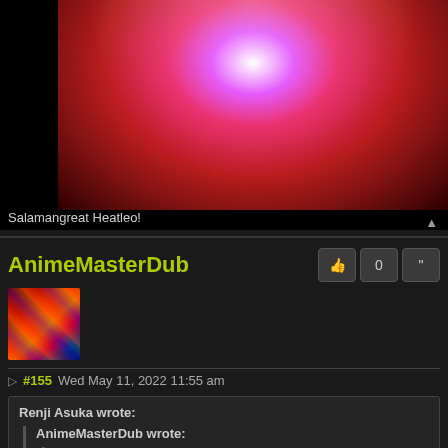[Figure (illustration): Colorful anime-style illustration with pink/red/orange radial glow energy effect on dark background, partially cropped at top]
Salamangreat Heatleo!
AnimeMasterDub
#155 Wed May 11, 2022 11:55 am
Renji Asuka wrote:
AnimeMasterDub wrote:
Slitina wrote:
It's not really broken to be ban worthy however as an Invoked player I do agree on its easy to summon. However to easily counter Mechaba is simply use something like Dark Ruler No More as an example or try to prevent the summon of Mechaba like using called by the grave on their Aleister.